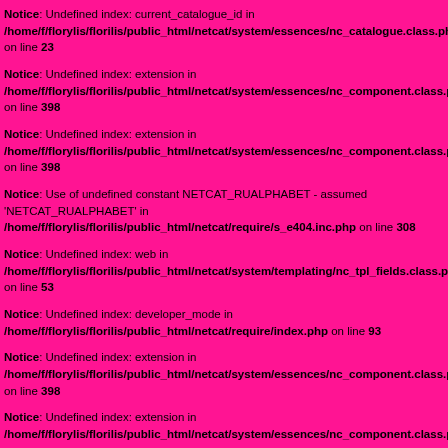Notice: Undefined index: current_catalogue_id in /home/f/florylis/florilis/public_html/netcat/system/essences/nc_catalogue.class.php on line 23
Notice: Undefined index: extension in /home/f/florylis/florilis/public_html/netcat/system/essences/nc_component.class.php on line 398
Notice: Undefined index: extension in /home/f/florylis/florilis/public_html/netcat/system/essences/nc_component.class.php on line 398
Notice: Use of undefined constant NETCAT_RUALPHABET - assumed 'NETCAT_RUALPHABET' in /home/f/florylis/florilis/public_html/netcat/require/s_e404.inc.php on line 308
Notice: Undefined index: web in /home/f/florylis/florilis/public_html/netcat/system/templating/nc_tpl_fields.class.php on line 53
Notice: Undefined index: developer_mode in /home/f/florylis/florilis/public_html/netcat/require/index.php on line 93
Notice: Undefined index: extension in /home/f/florylis/florilis/public_html/netcat/system/essences/nc_component.class.php on line 398
Notice: Undefined index: extension in /home/f/florylis/florilis/public_html/netcat/system/essences/nc_component.class.php on